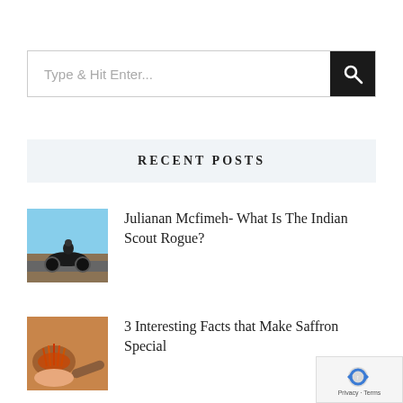Type & Hit Enter...
RECENT POSTS
[Figure (photo): Thumbnail of person riding a motorcycle (Indian Scout Rogue) on a road]
Julianan Mcfimeh- What Is The Indian Scout Rogue?
[Figure (photo): Thumbnail of saffron spice on a wooden spoon]
3 Interesting Facts that Make Saffron Special
Privacy · Terms